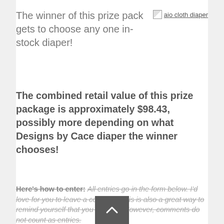The winner of this prize pack gets to choose any one in-stock diaper!
[Figure (photo): Broken image placeholder labeled 'aio cloth diaper']
The combined retail value of this prize package is approximately $98.43, possibly more depending on what Designs by Cace diaper the winner chooses!
Here's how to enter: All entries go in the form below. I'd love for you to leave a comment, this is also a great way to remind yourself that you entered. However, comments do not count as entries.
[Figure (other): Scroll-to-top button with upward chevron arrow on dark grey background]